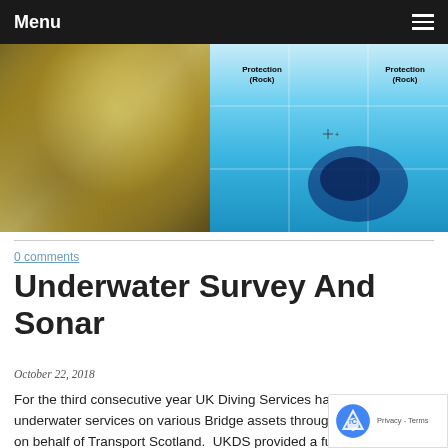Menu
[Figure (photo): Two-panel image: left shows underwater murky yellow/golden turbid water; right shows a sonar scan image with blue tones and a dark irregular shape in the center, with labels 'Protection (Rock)' on both left and right sides of the top]
0 comments
Underwater Survey And Sonar
October 22, 2018
For the third consecutive year UK Diving Services have provided underwater services on various Bridge assets throughout Scotland on behalf of Transport Scotland.  UKDS provided a full underwater scour a condition surveys of many of the bridge structures concluded that urgent repairs were required to several